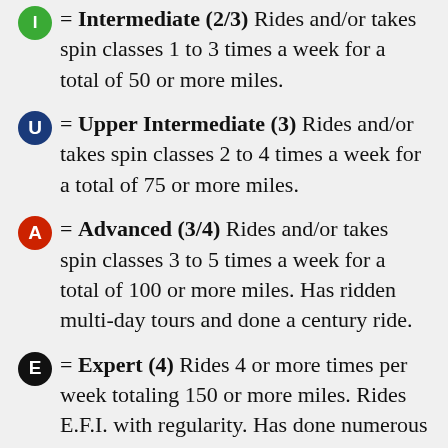Intermediate (2/3) Rides and/or takes spin classes 1 to 3 times a week for a total of 50 or more miles.
Upper Intermediate (3) Rides and/or takes spin classes 2 to 4 times a week for a total of 75 or more miles.
Advanced (3/4) Rides and/or takes spin classes 3 to 5 times a week for a total of 100 or more miles. Has ridden multi-day tours and done a century ride.
Expert (4) Rides 4 or more times per week totaling 150 or more miles. Rides E.F.I. with regularity. Has done numerous multi-day tours, century rides and races.
How Fit do I Have to Be? If one month prior to the tour, you can ride 2 to 3 times a week equaling a total of 75 or more miles a week, you'll do just fine. We like